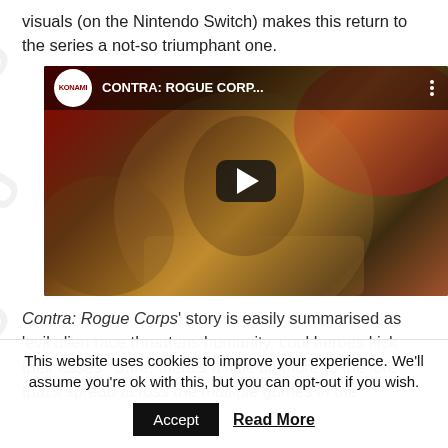visuals (on the Nintendo Switch) makes this return to the series a not-so triumphant one.
[Figure (screenshot): YouTube video embed showing Contra: Rogue Corps trailer. Konami logo in top-left circle, title 'CONTRA: ROGUE CORP...' in top bar, play button in center, comic-style artwork background featuring a close-up of a soldier character.]
Contra: Rogue Corps' story is easily summarised as 'evil alien race threatens humanity, cool heroes kick their asses'. Sure, there's a little bit more to the lore that's spread across the multiple games in the
This website uses cookies to improve your experience. We'll assume you're ok with this, but you can opt-out if you wish.
Accept
Read More